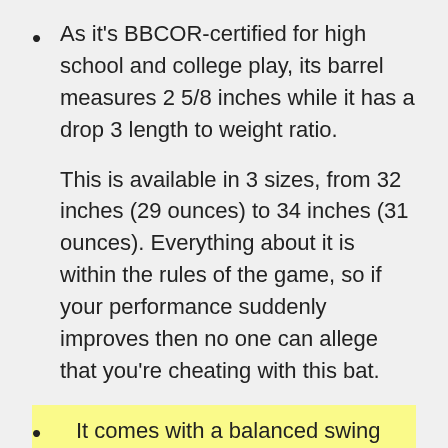As it's BBCOR-certified for high school and college play, its barrel measures 2 5/8 inches while it has a drop 3 length to weight ratio.
This is available in 3 sizes, from 32 inches (29 ounces) to 34 inches (31 ounces). Everything about it is within the rules of the game, so if your performance suddenly improves then no one can allege that you're cheating with this bat.
It comes with a balanced swing weight, as opposed to an end-